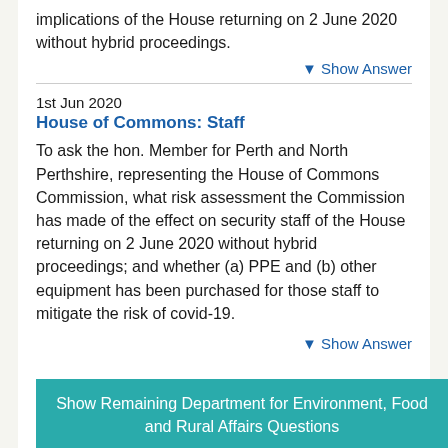implications of the House returning on 2 June 2020 without hybrid proceedings.
▼ Show Answer
1st Jun 2020
House of Commons: Staff
To ask the hon. Member for Perth and North Perthshire, representing the House of Commons Commission, what risk assessment the Commission has made of the effect on security staff of the House returning on 2 June 2020 without hybrid proceedings; and whether (a) PPE and (b) other equipment has been purchased for those staff to mitigate the risk of covid-19.
▼ Show Answer
Show Remaining Department for Environment, Food and Rural Affairs Questions